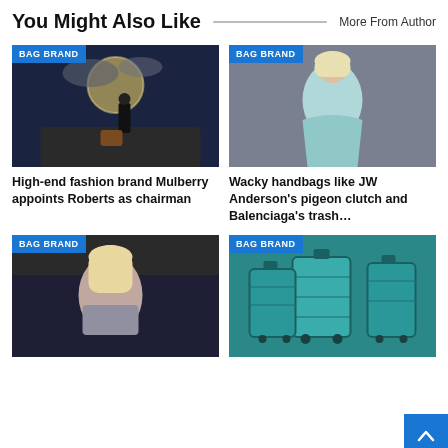You Might Also Like
More From Author
[Figure (photo): Fashion model in black outfit sitting on a rock against moonlit sky with a brown bag. Badge: BAG BRAND]
High-end fashion brand Mulberry appoints Roberts as chairman
[Figure (photo): Blonde woman in light blue dress posing against grey background. Badge: BAG BRAND]
Wacky handbags like JW Anderson's pigeon clutch and Balenciaga's trash…
[Figure (photo): Blonde woman in grey outfit at an event. Badge: BAG BRAND]
[Figure (photo): Teal/turquoise luggage set of three suitcases on rocky surface. Badge: BAG BRAND]